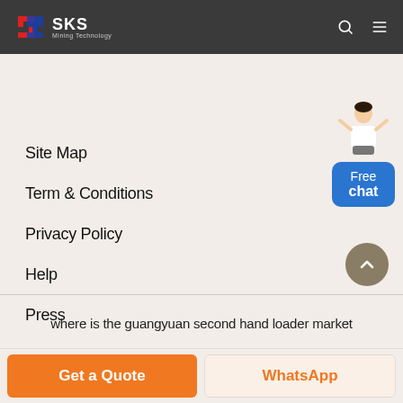SKS Mining Technology
Site Map
Term & Conditions
Privacy Policy
Help
Press
where is the guangyuan second hand loader market
[Figure (illustration): Free chat widget with a person illustration and blue button labeled Free chat]
Get a Quote | WhatsApp